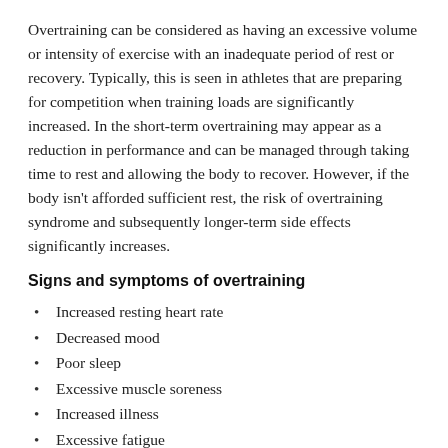Overtraining can be considered as having an excessive volume or intensity of exercise with an inadequate period of rest or recovery. Typically, this is seen in athletes that are preparing for competition when training loads are significantly increased. In the short-term overtraining may appear as a reduction in performance and can be managed through taking time to rest and allowing the body to recover. However, if the body isn't afforded sufficient rest, the risk of overtraining syndrome and subsequently longer-term side effects significantly increases.
Signs and symptoms of overtraining
Increased resting heart rate
Decreased mood
Poor sleep
Excessive muscle soreness
Increased illness
Excessive fatigue
Signs and symptoms of overtraining (continued)